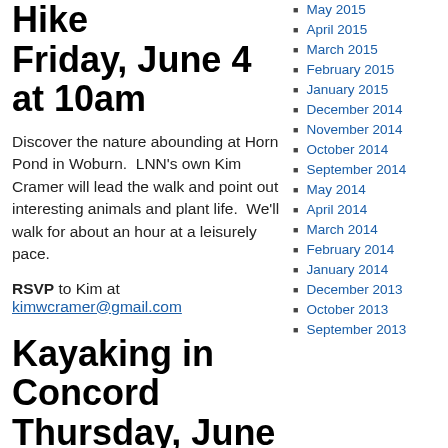Hike Friday, June 4 at 10am
Discover the nature abounding at Horn Pond in Woburn. LNN's own Kim Cramer will lead the walk and point out interesting animals and plant life. We'll walk for about an hour at a leisurely pace.
RSVP to Kim at kimwcramer@gmail.com
Kayaking in Concord Thursday, June 10 at 10am
May 2015
April 2015
March 2015
February 2015
January 2015
December 2014
November 2014
October 2014
September 2014
May 2014
April 2014
March 2014
February 2014
January 2014
December 2013
October 2013
September 2013